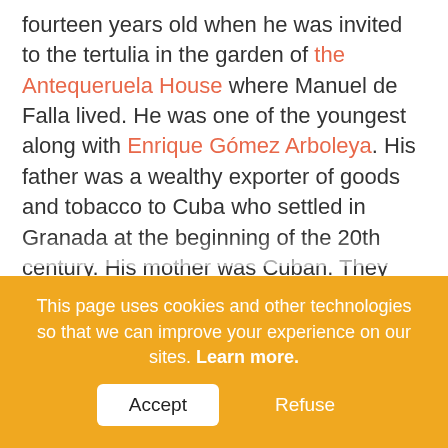fourteen years old when he was invited to the tertulia in the garden of the Antequeruela House where Manuel de Falla lived. He was one of the youngest along with Enrique Gómez Arboleya. His father was a wealthy exporter of goods and tobacco to Cuba who settled in Granada at the beginning of the 20th century. His mother was Cuban. They lived at first on Reyes Católicos Street, but after an economic crisis and the death of his father they moved to the Albaicín. Luis Jiménez had been a great
This page uses cookies and other technologies so that we can improve your experience on our sites. Learn more.
Accept
Refuse